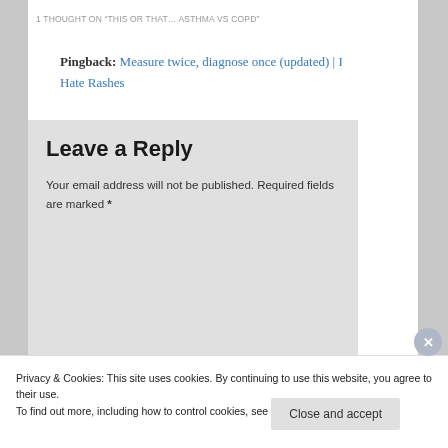1 THOUGHT ON “THIS OR THAT… ASTHMA VS COPD”
Pingback: Measure twice, diagnose once (updated) | I Hate Rashes
Leave a Reply
Your email address will not be published. Required fields are marked *
Privacy & Cookies: This site uses cookies. By continuing to use this website, you agree to their use.
To find out more, including how to control cookies, see here: Cookie Policy
Close and accept